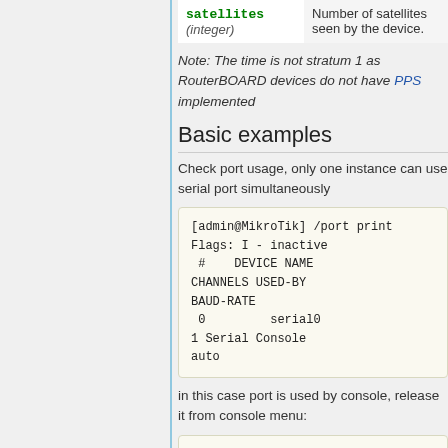| satellites | Number of satellites seen by the device. |
| --- | --- |
| (integer) |  |
Note: The time is not stratum 1 as RouterBOARD devices do not have PPS implemented
Basic examples
Check port usage, only one instance can use serial port simultaneously
[Figure (screenshot): Terminal code block showing /port print command output with flags and device listing]
in this case port is used by console, release it from console menu:
[Figure (screenshot): Terminal code block showing [admin@MikroTik] > /system command]